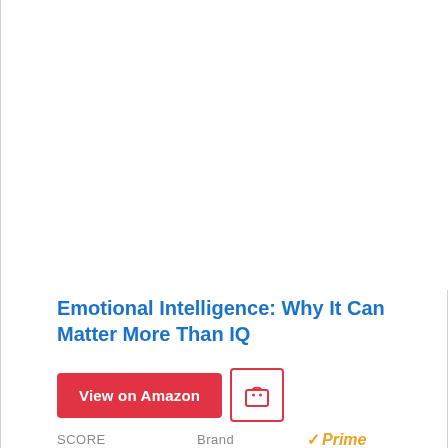[Figure (other): Product image area (blank/white space where book cover image would appear)]
Emotional Intelligence: Why It Can Matter More Than IQ
View on Amazon | bag icon button
SCORE   Brand   ✓Prime